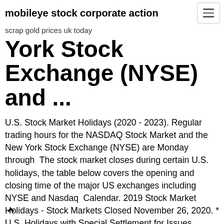mobileye stock corporate action
scrap gold prices uk today
York Stock Exchange (NYSE) and ...
U.S. Stock Market Holidays (2020 - 2023). Regular trading hours for the NASDAQ Stock Market and the New York Stock Exchange (NYSE) are Monday through  The stock market closes during certain U.S. holidays, the table below covers the opening and closing time of the major US exchanges including NYSE and Nasdaq  Calendar. 2019 Stock Market Holidays - Stock Markets Closed November 26, 2020. * U.S. Holidays with Special Settlement for Issues trading in USD
Markets | Financial Markets & ASX News | Stock Market News ... Read the latest Financial Markets News & Economic News Including Stock Markers ASX, DJIA, NASDAQ, FTSE, HANG SENG & more Financial Markets from News.com.au